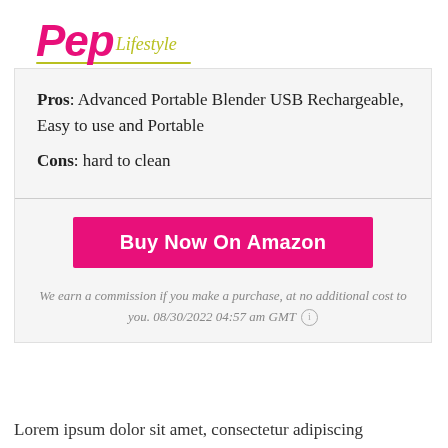[Figure (logo): Pep Lifestyle logo with 'Pep' in bold pink italic and 'Lifestyle' in yellow-green cursive script, with a yellow-green underline]
Pros: Advanced Portable Blender USB Rechargeable, Easy to use and Portable
Cons: hard to clean
[Figure (other): Buy Now On Amazon button in pink/magenta]
We earn a commission if you make a purchase, at no additional cost to you. 08/30/2022 04:57 am GMT ⓘ
Lorem ipsum dolor sit amet, consectetur adipiscing